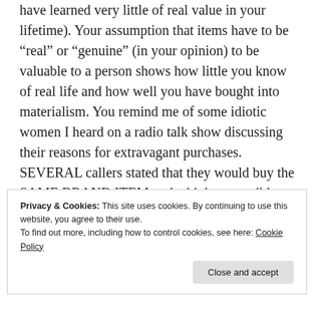have learned very little of real value in your lifetime). Your assumption that items have to be “real” or “genuine” (in your opinion) to be valuable to a person shows how little you know of real life and how well you have bought into materialism. You remind me of some idiotic women I heard on a radio talk show discussing their reasons for extravagant purchases. SEVERAL callers stated that they would buy the SAME BRAND ITEM at the highest possible price because they “deserve the best.”
Privacy & Cookies: This site uses cookies. By continuing to use this website, you agree to their use.
To find out more, including how to control cookies, see here: Cookie Policy